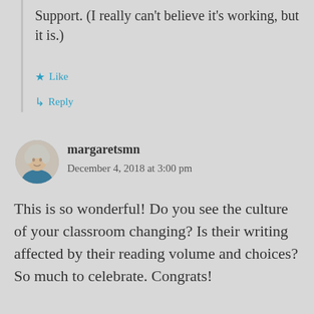Support. (I really can't believe it's working, but it is.)
★ Like
↳ Reply
margaretsmn
December 4, 2018 at 3:00 pm
This is so wonderful! Do you see the culture of your classroom changing? Is their writing affected by their reading volume and choices? So much to celebrate. Congrats!